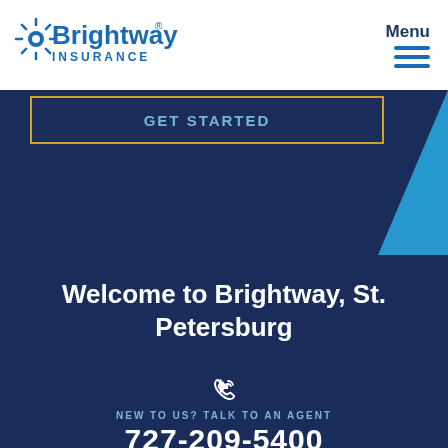[Figure (logo): Brightway Insurance logo with sunburst icon in blue]
Menu
GET STARTED
Welcome to Brightway, St. Petersburg
NEW TO US? TALK TO AN AGENT
727-209-5400